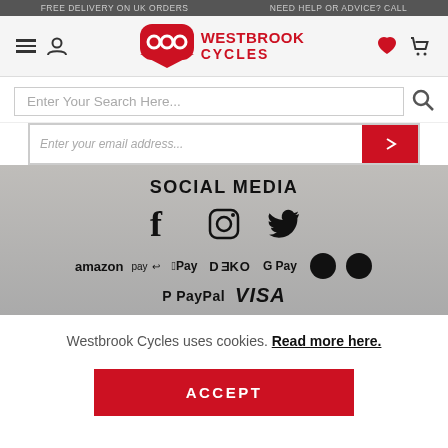FREE DELIVERY ON UK ORDERS   NEED HELP OR ADVICE? CALL
[Figure (logo): Westbrook Cycles logo with red shield icon and bold red text]
Enter Your Search Here...
Enter your email address...
SOCIAL MEDIA
[Figure (infographic): Social media icons: Facebook, Instagram, Twitter]
[Figure (infographic): Payment method logos: amazon pay, Apple Pay, DEKO, G Pay, Maestro, Mastercard, PayPal, VISA]
Westbrook Cycles uses cookies. Read more here.
ACCEPT